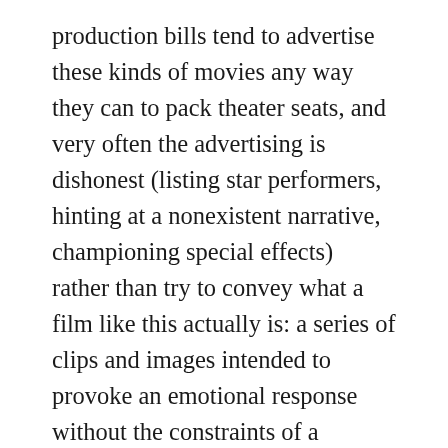production bills tend to advertise these kinds of movies any way they can to pack theater seats, and very often the advertising is dishonest (listing star performers, hinting at a nonexistent narrative, championing special effects) rather than try to convey what a film like this actually is: a series of clips and images intended to provoke an emotional response without the constraints of a narative. While audiences tolerate or even prefer this kind of artitic sound and imagery in a three-minute music video or YouTube clip, it wears thin after enduring over two hours of it without a conflict-